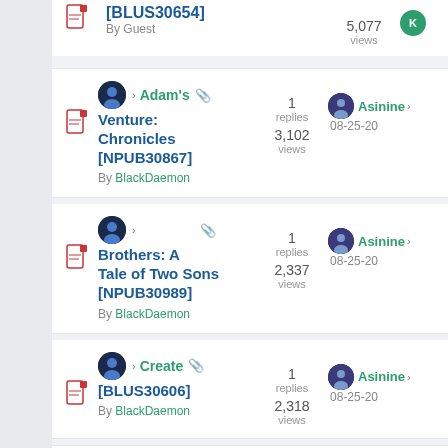[BLUS30654] By Guest — 5,077 views
Adam's Venture: Chronicles [NPUB30867] By BlackDaemon — 1 replies, 3,102 views — Asinine 08-25-20
Brothers: A Tale of Two Sons [NPUB30989] By BlackDaemon — 1 replies, 2,337 views — Asinine 08-25-20
Create [BLUS30606] By BlackDaemon — 1 replies, 2,318 views — Asinine 08-25-20
1 (partial row at bottom)